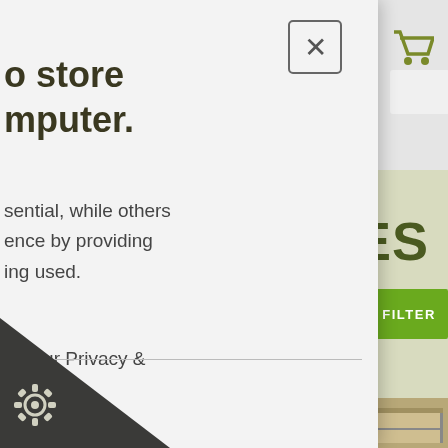[Figure (screenshot): Website screenshot showing a greenhouse/garden store product listing page with cookie consent popup overlay. The popup covers the left portion of the screen. The right side shows user account and cart icons, a search bar, 'HOUSES' heading, a sort dropdown, a green FILTER button, item count text, and product images of greenhouses.]
o store mputer.
sential, while others ence by providing ing used.
isit our Privacy &
HOUSES
FILTER
m(s)